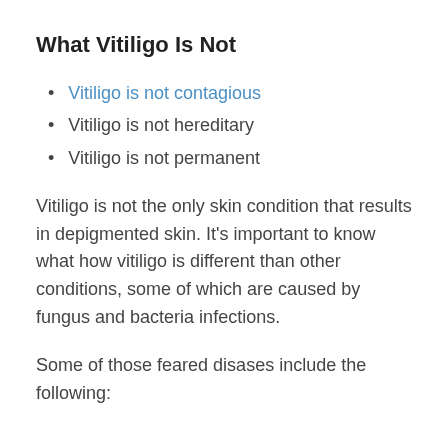What Vitiligo Is Not
Vitiligo is not contagious
Vitiligo is not hereditary
Vitiligo is not permanent
Vitiligo is not the only skin condition that results in depigmented skin. It’s important to know what how vitiligo is different than other conditions, some of which are caused by fungus and bacteria infections.
Some of those feared disases include the following: